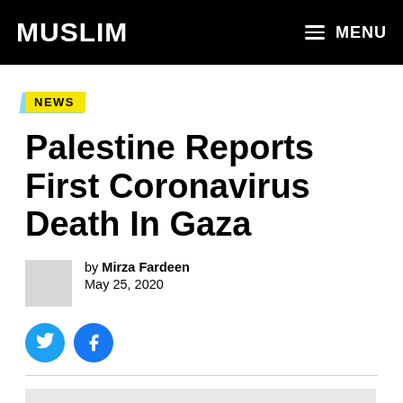MUSLIM | MENU
NEWS
Palestine Reports First Coronavirus Death In Gaza
by Mirza Fardeen
May 25, 2020
[Figure (other): Gray image placeholder at the bottom of the article]